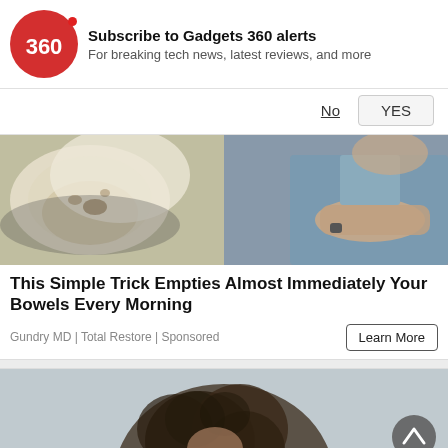[Figure (logo): Gadgets 360 red circle logo with '360' text in white]
Subscribe to Gadgets 360 alerts
For breaking tech news, latest reviews, and more
No   YES
[Figure (photo): A split image showing flatbread/roti on a pan on the left and a doctor with crossed arms on the right]
This Simple Trick Empties Almost Immediately Your Bowels Every Morning
Gundry MD | Total Restore | Sponsored
Learn More
[Figure (photo): A woman with curly hair looking down, on a grey background — partial view (second advertisement image)]